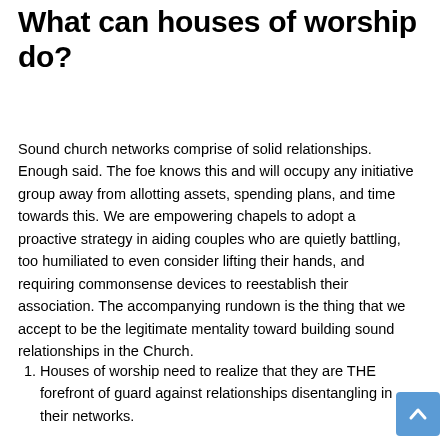What can houses of worship do?
Sound church networks comprise of solid relationships. Enough said. The foe knows this and will occupy any initiative group away from allotting assets, spending plans, and time towards this. We are empowering chapels to adopt a proactive strategy in aiding couples who are quietly battling, too humiliated to even consider lifting their hands, and requiring commonsense devices to reestablish their association. The accompanying rundown is the thing that we accept to be the legitimate mentality toward building sound relationships in the Church.
Houses of worship need to realize that they are THE forefront of guard against relationships disentangling in their networks.